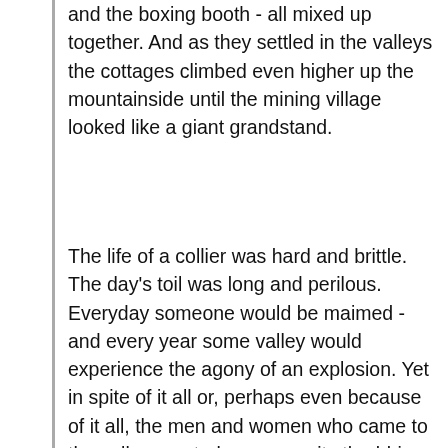and the boxing booth - all mixed up together. And as they settled in the valleys the cottages climbed even higher up the mountainside until the mining village looked like a giant grandstand.
The life of a collier was hard and brittle. The day's toil was long and perilous. Everyday someone would be maimed - and every year some valley would experience the agony of an explosion. Yet in spite of it all or, perhaps even because of it all, the men and women who came to the valley created a community throbbing with life. Thrown together in the narrow valley, cut off from the world outside, they clung together fiercely, sharing the fellowship of common danger. Life in the valleys has a magic of its own, and to us who grew up in the glow of its fires there comes a nostalgic longing - 'hiraeth' as they say in our mother language - of the fellowship